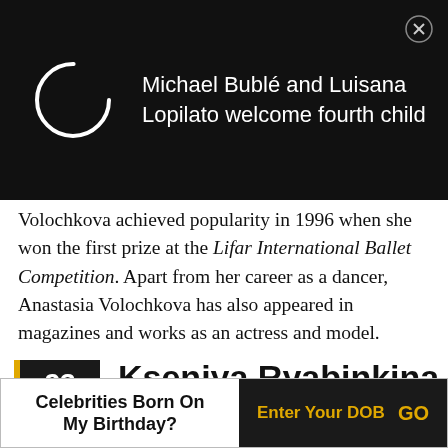[Figure (screenshot): Notification bar with loading spinner and text about Michael Bublé and Luisana Lopilato welcoming fourth child]
Volochkova achieved popularity in 1996 when she won the first prize at the Lifar International Ballet Competition. Apart from her career as a dancer, Anastasia Volochkova has also appeared in magazines and works as an actress and model.
23 Kseniya Ryabinkina
(Ballet Dancer)
[Figure (photo): Partial photo of Kseniya Ryabinkina]
Celebrities Born On My Birthday? Enter Your DOB GO